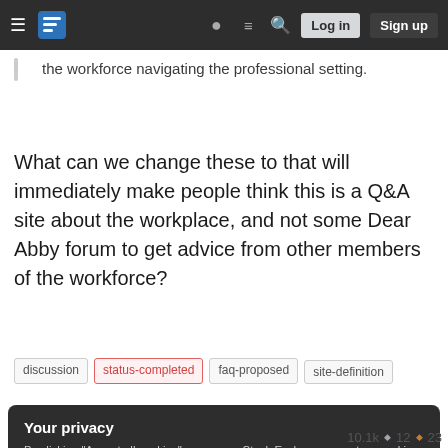Stack Exchange navigation bar with hamburger menu, logo, help, chat, search icons, Log in and Sign up buttons
the workforce navigating the professional setting.
What can we change these to that will immediately make people think this is a Q&A site about the workplace, and not some Dear Abby forum to get advice from other members of the workforce?
discussion
status-completed
faq-proposed
site-definition
Your privacy
By clicking "Accept all cookies", you agree Stack Exchange can store cookies on your device and disclose information in accordance with our Cookie Policy.
Accept all cookies   Customize settings
10.1k  ◆ 12  ◆ 23